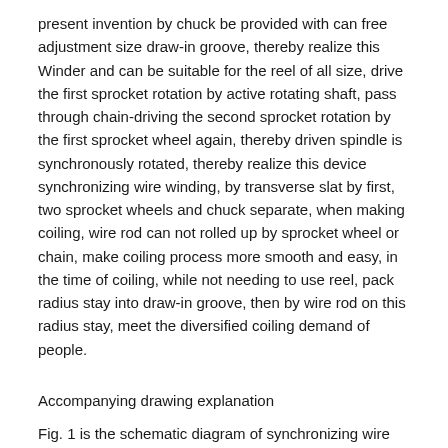present invention by chuck be provided with can free adjustment size draw-in groove, thereby realize this Winder and can be suitable for the reel of all size, drive the first sprocket rotation by active rotating shaft, pass through chain-driving the second sprocket rotation by the first sprocket wheel again, thereby driven spindle is synchronously rotated, thereby realize this device synchronizing wire winding, by transverse slat by first, two sprocket wheels and chuck separate, when making coiling, wire rod can not rolled up by sprocket wheel or chain, make coiling process more smooth and easy, in the time of coiling, while not needing to use reel, pack radius stay into draw-in groove, then by wire rod on this radius stay, meet the diversified coiling demand of people.
Accompanying drawing explanation
Fig. 1 is the schematic diagram of synchronizing wire winding device of the present invention;
Fig. 2 is the schematic diagram of chuck in the present invention;